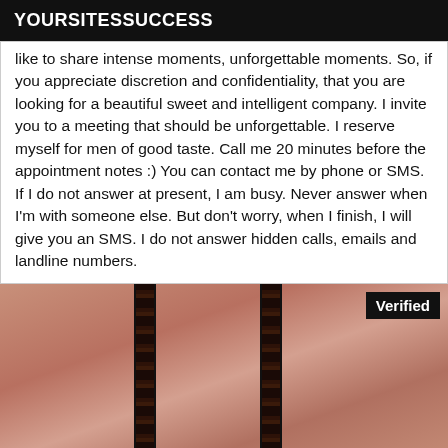YOURSITESSUCCESS
like to share intense moments, unforgettable moments. So, if you appreciate discretion and confidentiality, that you are looking for a beautiful sweet and intelligent company. I invite you to a meeting that should be unforgettable. I reserve myself for men of good taste. Call me 20 minutes before the appointment notes :) You can contact me by phone or SMS. If I do not answer at present, I am busy. Never answer when I'm with someone else. But don't worry, when I finish, I will give you an SMS. I do not answer hidden calls, emails and landline numbers.
[Figure (photo): Close-up photo of a person wearing dark lace lingerie against skin-toned background, with a 'Verified' badge overlay in the top right corner.]